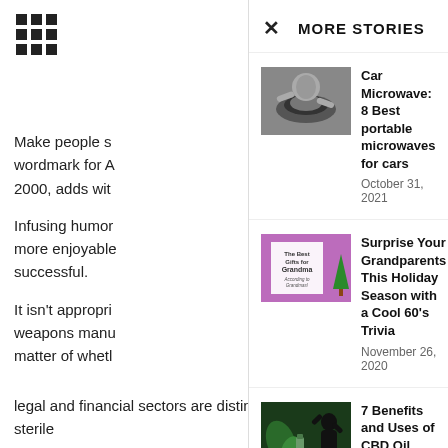[Figure (other): 3x3 grid/menu icon]
Make people s… wordmark for A… 2000, adds wit…
Infusing humor… more enjoyable… successful.
It isn't appropri… weapons manu… matter of whetl…
× MORE STORIES
[Figure (photo): Thumbnail image of person using microwave]
Car Microwave: 8 Best portable microwaves for cars
October 31, 2021
[Figure (photo): Thumbnail image: The Best Gifts for Grandma According to Grandmas! purple background]
Surprise Your Grandparents This Holiday Season with a Cool 60's Trivia
November 26, 2020
[Figure (photo): Thumbnail image: CBD oil products with plants and silhouette]
7 Benefits and Uses of CBD Oil (Plus Side Effects)
March 13, 2020
However, cute…
legal and financial sectors are distinguished by stuffy and sterile